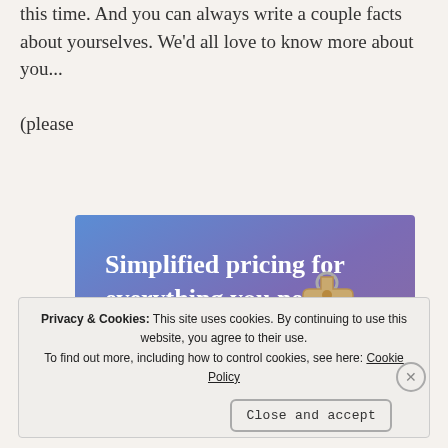this time. And you can always write a couple facts about yourselves. We'd all love to know more about you... (please
[Figure (screenshot): Advertisement banner with blue-to-purple gradient background showing text 'Simplified pricing for everything you need.' with a pink 'Build Your Website' button and a tan price tag graphic on the right.]
Privacy & Cookies: This site uses cookies. By continuing to use this website, you agree to their use. To find out more, including how to control cookies, see here: Cookie Policy
Close and accept